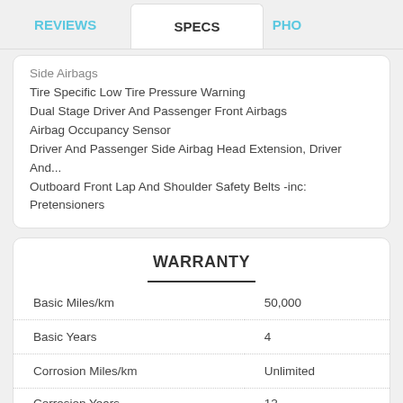REVIEWS | SPECS | PHO
Side Airbags
Tire Specific Low Tire Pressure Warning
Dual Stage Driver And Passenger Front Airbags
Airbag Occupancy Sensor
Driver And Passenger Side Airbag Head Extension, Driver And...
Outboard Front Lap And Shoulder Safety Belts -inc: Pretensioners
WARRANTY
|  |  |
| --- | --- |
| Basic Miles/km | 50,000 |
| Basic Years | 4 |
| Corrosion Miles/km | Unlimited |
| Corrosion Years | 12 |